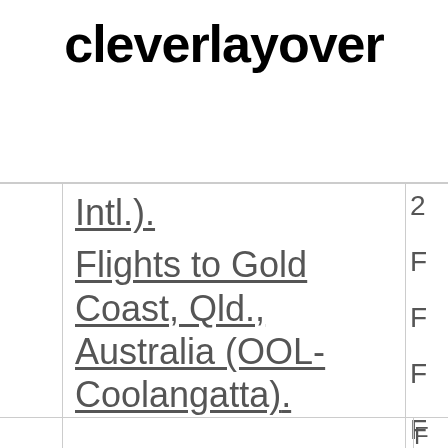cleverlayover
Intl.). Flights to Gold Coast, Qld., Australia (OOL-Coolangatta).